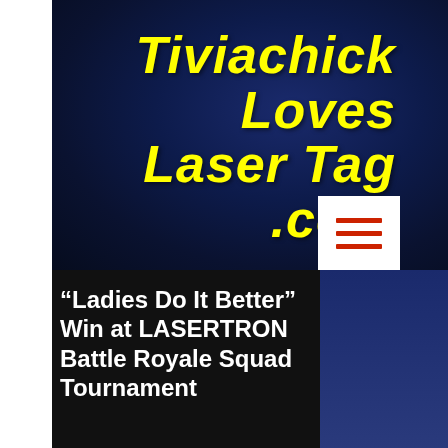Tiviachick Loves Laser Tag .com
[Figure (screenshot): White square hamburger menu button with three red horizontal lines on a dark blue gradient background]
“Ladies Do It Better” Win at LASERTRON Battle Royale Squad Tournament